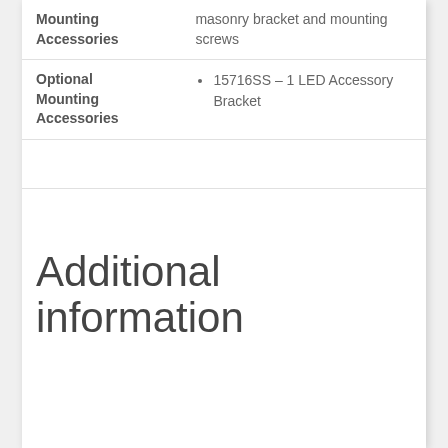|  |  |
| --- | --- |
| Mounting Accessories | masonry bracket and mounting screws |
| Optional Mounting Accessories | 15716SS – 1 LED Accessory Bracket |
|  |  |
Additional information